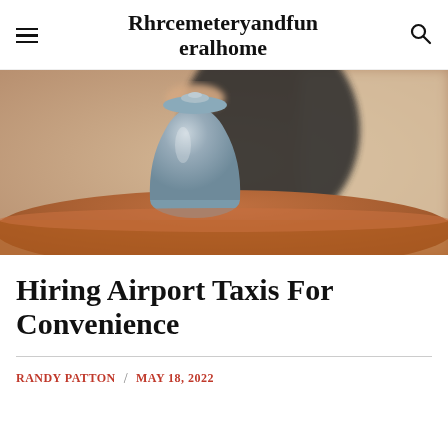Rhrcemeteryandfuneralhome
[Figure (photo): A person placing a grey ceramic urn on a wooden table, photographed indoors with soft background blur.]
Hiring Airport Taxis For Convenience
RANDY PATTON / MAY 18, 2022